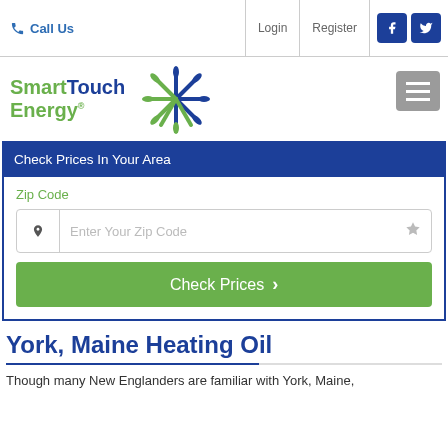Call Us | Login | Register
[Figure (logo): SmartTouch Energy logo with green and blue starburst/pinwheel icon]
Check Prices In Your Area
Zip Code
Enter Your Zip Code
Check Prices
York, Maine Heating Oil
Though many New Englanders are familiar with York, Maine,